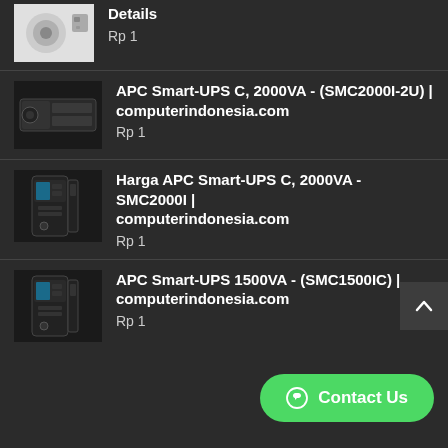Details
Rp 1
APC Smart-UPS C, 2000VA - (SMC2000I-2U) | computerindonesia.com
Rp 1
Harga APC Smart-UPS C, 2000VA - SMC2000I | computerindonesia.com
Rp 1
APC Smart-UPS 1500VA - (SMC1500IC) | computerindonesia.com
Rp 1
Contact Us